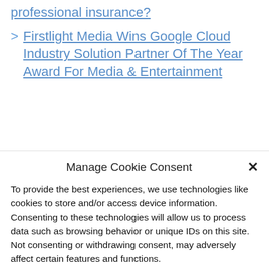professional insurance?
Firstlight Media Wins Google Cloud Industry Solution Partner Of The Year Award For Media & Entertainment
Leave a Comment
Manage Cookie Consent
To provide the best experiences, we use technologies like cookies to store and/or access device information. Consenting to these technologies will allow us to process data such as browsing behavior or unique IDs on this site. Not consenting or withdrawing consent, may adversely affect certain features and functions.
Accept